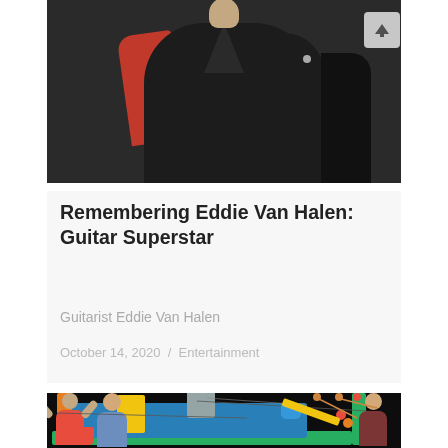[Figure (photo): Partial photo of a person wearing a dark/black v-neck shirt with a red garment visible beneath, photographed from torso up against a dark background.]
Remembering Eddie Van Halen: Guitar Superstar
Guitarist Eddie Van Halen
October 14, 2020  /  Entertainment
[Figure (photo): Students gathered around a colorful Rube Goldberg-style machine made with blue, green, and yellow painted wooden parts, metal cylinder, and various ball-and-track elements on a stage. A girl in red shirt is on the left, a boy in blue shirt in center, another student on right.]